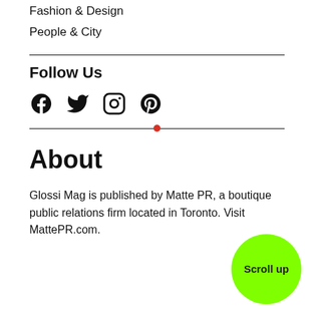Fashion & Design
People & City
Follow Us
[Figure (illustration): Social media icons: Facebook, Twitter, Instagram, Pinterest]
About
Glossi Mag is published by Matte PR, a boutique public relations firm located in Toronto. Visit MattePR.com.